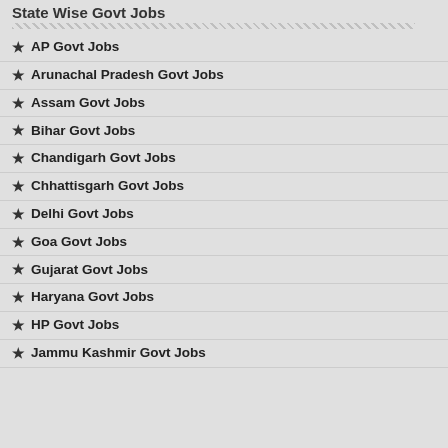State Wise Govt Jobs
AP Govt Jobs
Arunachal Pradesh Govt Jobs
Assam Govt Jobs
Bihar Govt Jobs
Chandigarh Govt Jobs
Chhattisgarh Govt Jobs
Delhi Govt Jobs
Goa Govt Jobs
Gujarat Govt Jobs
Haryana Govt Jobs
HP Govt Jobs
Jammu Kashmir Govt Jobs